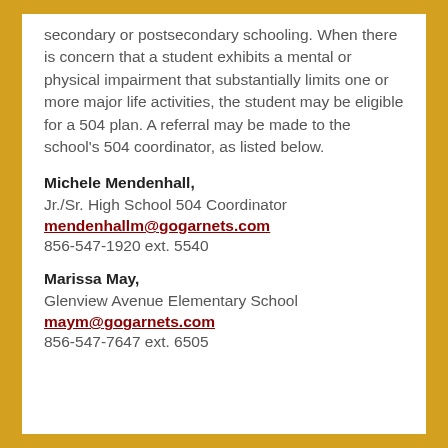secondary or postsecondary schooling. When there is concern that a student exhibits a mental or physical impairment that substantially limits one or more major life activities, the student may be eligible for a 504 plan. A referral may be made to the school's 504 coordinator, as listed below.
Michele Mendenhall,
Jr./Sr. High School 504 Coordinator
mendenhallm@gogarnets.com
856-547-1920 ext. 5540
Marissa May,
Glenview Avenue Elementary School
maym@gogarnets.com
856-547-7647 ext. 6505